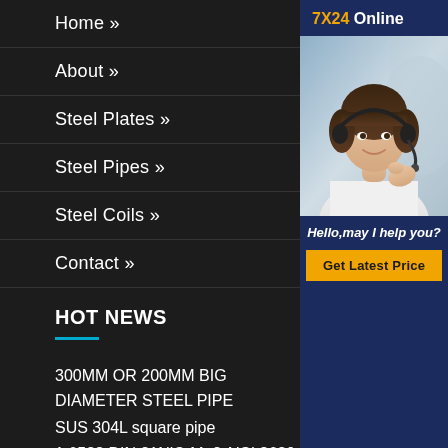Home »
About »
Steel Plates »
Steel Pipes »
Steel Coils »
Contact »
HOT NEWS
300MM OR 200MM BIG DIAMETER STEEL PIPE
SUS 304L square pipe
1 6523 DIN 21NiCrMo2 AISI 8620 alloy steel plate coil
Best RINA A steel plate price
[Figure (photo): Customer service agent wearing headset, smiling, with '7X24 Online' header, 'Hello, may I help you?' text, and 'Get Latest Price' yellow button on dark blue sidebar]